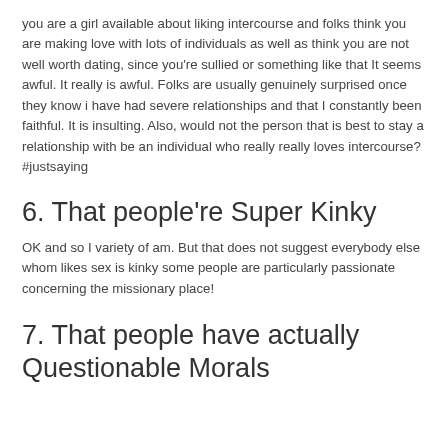you are a girl available about liking intercourse and folks think you are making love with lots of individuals as well as think you are not well worth dating, since you're sullied or something like that It seems awful. It really is awful. Folks are usually genuinely surprised once they know i have had severe relationships and that I constantly been faithful. It is insulting. Also, would not the person that is best to stay a relationship with be an individual who really really loves intercourse? #justsaying
6. That people're Super Kinky
OK and so I variety of am. But that does not suggest everybody else whom likes sex is kinky some people are particularly passionate concerning the missionary place!
7. That people have actually Questionable Morals